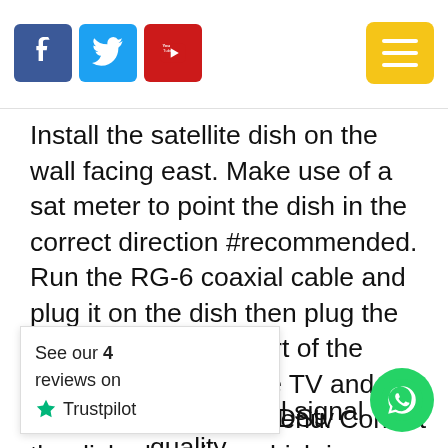Social media icons (Facebook, Twitter, YouTube) and menu button
Install the satellite dish on the wall facing east. Make use of a sat meter to point the dish in the correct direction #recommended. Run the RG-6 coaxial cable and plug it on the dish then plug the other end into the port of the decoder. Connect the TV and go to the signal status menu. Correct the dish elevation, which is adjustable by the side screws. The best would be to mark it between 36 and 39 degrees. Move the dstv dish left and right adjusting the LNB until an optimal signal quality.
x or repair DStv
[Figure (logo): Trustpilot review widget showing 'See our 4 reviews on Trustpilot' with green star]
[Figure (logo): WhatsApp contact button (green circle with phone icon)]